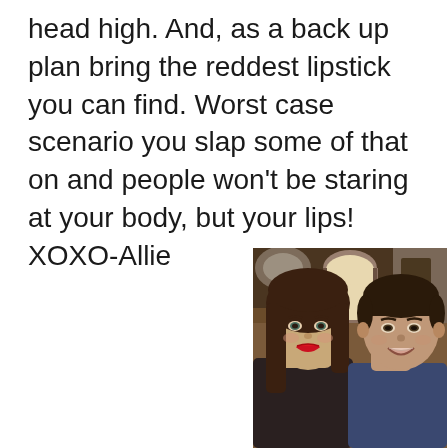head high.  And, as a back up plan bring the reddest lipstick you can find.  Worst case scenario you slap some of that on and people won't be staring at your body, but your lips!  XOXO-Allie
[Figure (photo): A smiling couple posing for a selfie indoors. The woman on the left has long brown hair and is wearing red lipstick. The man on the right has short dark hair and is smiling. The background shows an interior hallway with an arched doorway and a chandelier.]